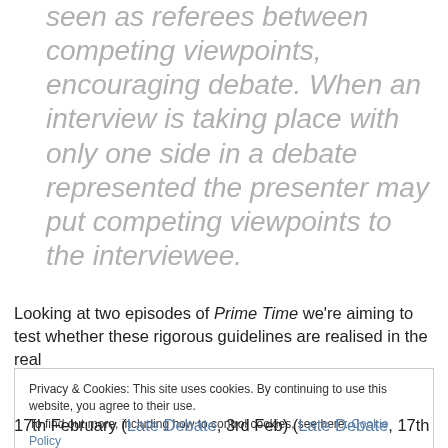seen as referees between competing viewpoints, encouraging debate. When an interview is taking place with only one side in a debate represented the presenter may put competing viewpoints to the interviewee.
Looking at two episodes of Prime Time we're aiming to test whether these rigorous guidelines are realised in the real
Privacy & Cookies: This site uses cookies. By continuing to use this website, you agree to their use. To find out more, including how to control cookies, see here: Cookie Policy
Close and accept
17th February (Late Debate, 3rd Feb) (Late Debate, 17th